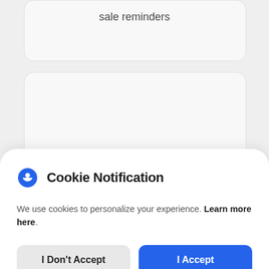sale reminders
Multiple Currencies
Browse using your
Cookie Notification
We use cookies to personalize your experience. Learn more here.
I Don't Accept
I Accept